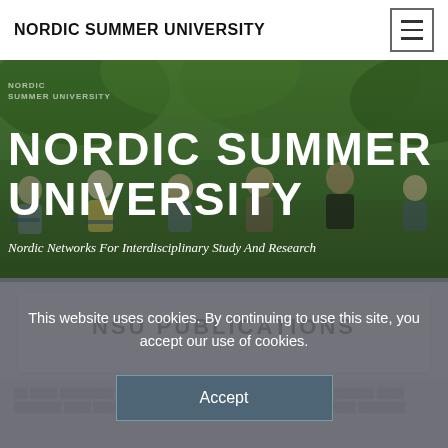NORDIC SUMMER UNIVERSITY
[Figure (photo): Hero banner photo of people sitting outdoors in a garden/park setting, overlaid with large white text reading NORDIC SUMMER UNIVERSITY and subtitle Nordic Networks For Interdisciplinary Study And Research]
NSU PUBLICATIONS
This website uses cookies. By continuing to use this site, you accept our use of cookies.
Accept